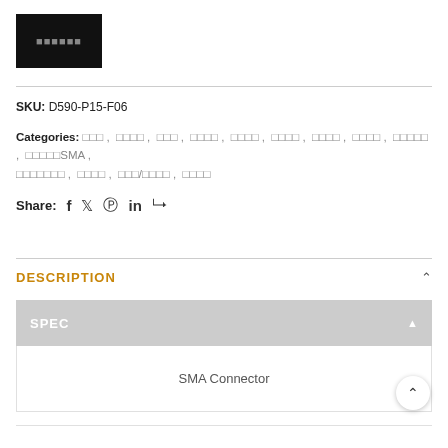[Figure (logo): Black rectangle logo box with gray text placeholder characters]
SKU: D590-P15-F06
Categories: [Japanese text categories] ... SMA, [more Japanese categories]
Share: f (facebook) (twitter) (pinterest) in (linkedin) (telegram)
DESCRIPTION
SPEC
SMA Connector